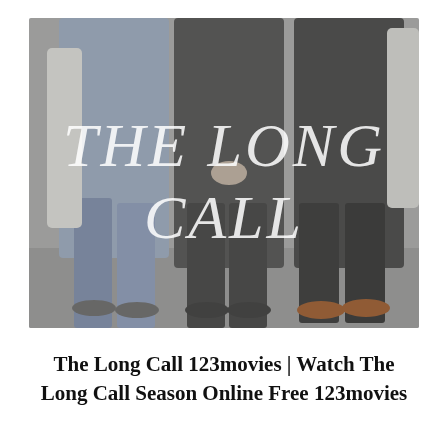[Figure (photo): A faded, muted photograph showing three people standing, visible from roughly the waist down. In the center foreground, large italic white text overlaid reads 'THE LONG CALL' in two lines.]
The Long Call 123movies | Watch The Long Call Season Online Free 123movies